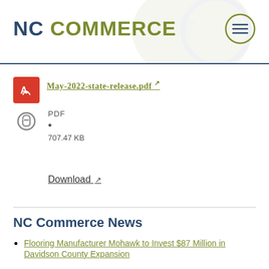NC COMMERCE
May-2022-state-release.pdf
PDF
•
707.47 KB
Download
NC Commerce News
Flooring Manufacturer Mohawk to Invest $87 Million in Davidson County Expansion